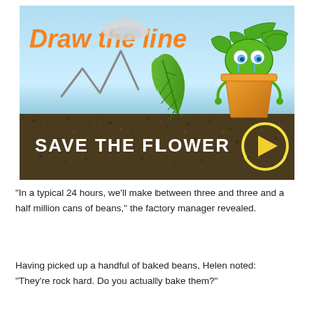[Figure (illustration): Illustrated game advertisement showing 'Draw the line' title in orange italic text with a cloud, a zigzag drawn line, a green leaf, and a cartoon green creature sitting in an orange flower pot. Below is a dark textured banner reading 'SAVE THE FLOWER' in white bold text with a yellow play button circle.]
“In a typical 24 hours, we’ll make between three and three and a half million cans of beans,” the factory manager revealed.
Having picked up a handful of baked beans, Helen noted:
“They’re rock hard. Do you actually bake them?”